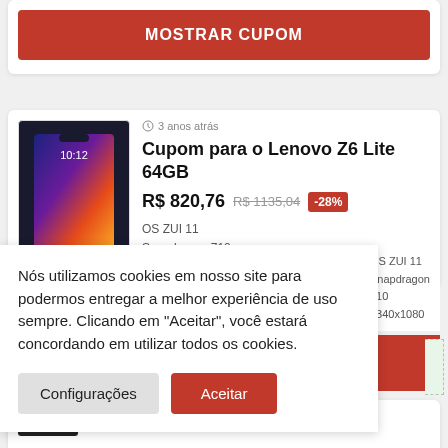[Figure (screenshot): MOSTRAR CUPOM red button with dashed green corner decoration]
[Figure (photo): Lenovo Z6 Lite smartphone product image, black phone with colorful screen]
3 anos atrás
Cupom para o Lenovo Z6 Lite 64GB
R$ 820,76 R$ 1135,04 -28%
OS ZUI 11 Snapdragon 710 2340x1080
Nós utilizamos cookies em nosso site para podermos entregar a melhor experiência de uso sempre. Clicando em "Aceitar", você estará concordando em utilizar todos os cookies.
Configurações
Aceitar
3 anos atrás